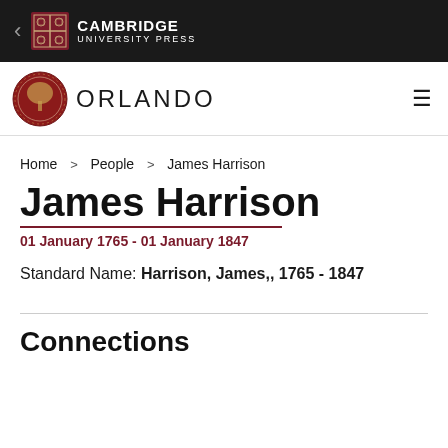Cambridge University Press — ORLANDO
Home > People > James Harrison
James Harrison
01 January 1765 - 01 January 1847
Standard Name: Harrison, James,, 1765 - 1847
Connections